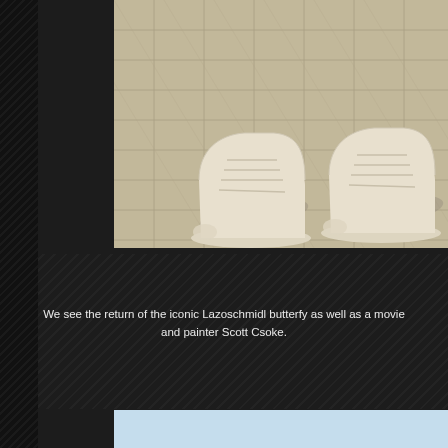[Figure (photo): Close-up of two people's feet wearing white high-top Converse sneakers on a light stone/brick pavement, casting shadows]
We see the return of the iconic Lazoschmidl butterfy as well as a movie and painter Scott Csoke.
[Figure (photo): Young man with dark curly hair wearing a patterned tank top, photographed against a blue sky with trees in the background, standing near a brick wall]